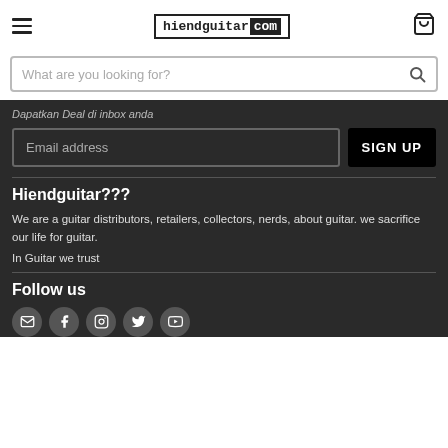hiendguitar.com
What are you looking for?
Dapatkan Deal di inbox anda
Email address
SIGN UP
Hiendguitar???
We are a guitar distributors, retailers, collectors, nerds, about guitar. we sacrifice our life for guitar.
In Guitar we trust
Follow us